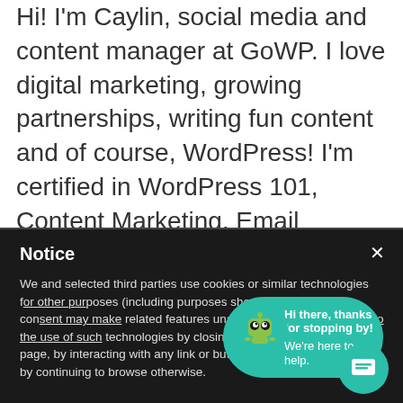Hi! I'm Caylin, social media and content manager at GoWP. I love digital marketing, growing partnerships, writing fun content and of course, WordPress! I'm certified in WordPress 101, Content Marketing, Email Marketing, and Inbound Sales with HubSpot. When I'm not helping GoWP grow, you can find me hanging with my family, playing with
Notice
We and selected third parties use cookies or similar technologies f... for other pur... Denying con... You can conse... this notice, by scrolling this page, by interacting with any link or button outside of this notice or by continuing to browse otherwise.
[Figure (other): Chat widget popup bubble with a green robot mascot icon, showing 'Hi there, thanks for stopping by!' and 'We're here to help.' on a teal/green background, plus a teal circular chat launcher button in the bottom right.]